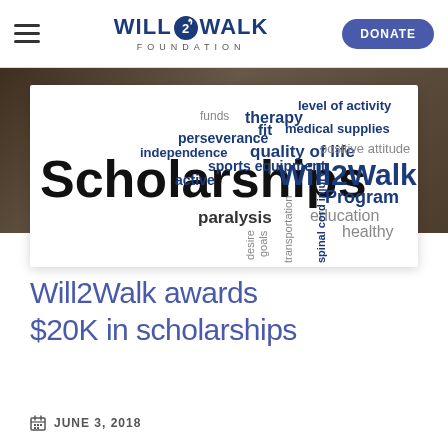Will2Walk Foundation — DONATE
[Figure (infographic): Word cloud with scholarship-related terms: Scholarships (large), Will2Walk, therapy, level of activity, fit, medical supplies, perseverance, independence, quality of life, positive attitude, sports equipment, active, Program, education, healthy, paralysis, desire, goals, transportation, spinal cord injury, funds]
Will2Walk awards $20K in scholarships
JUNE 3, 2018